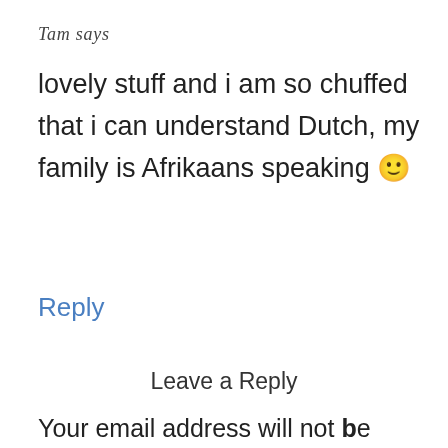Tam says
lovely stuff and i am so chuffed that i can understand Dutch, my family is Afrikaans speaking 🙂
Reply
Leave a Reply
Your email address will not be published. Required fields are marked *